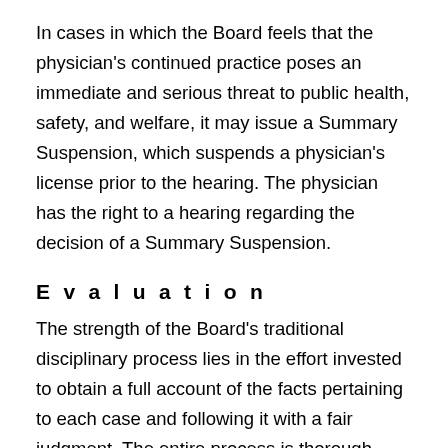In cases in which the Board feels that the physician's continued practice poses an immediate and serious threat to public health, safety, and welfare, it may issue a Summary Suspension, which suspends a physician's license prior to the hearing. The physician has the right to a hearing regarding the decision of a Summary Suspension.
Evaluation
The strength of the Board's traditional disciplinary process lies in the effort invested to obtain a full account of the facts pertaining to each case and following it with a fair judgment. The entire process is thorough, both in terms of